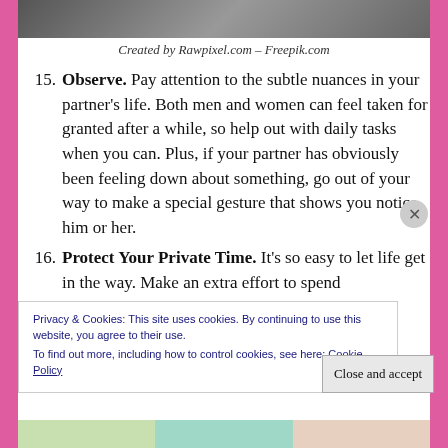[Figure (photo): Grayscale photo strip at top of page]
Created by Rawpixel.com – Freepik.com
Observe. Pay attention to the subtle nuances in your partner's life. Both men and women can feel taken for granted after a while, so help out with daily tasks when you can. Plus, if your partner has obviously been feeling down about something, go out of your way to make a special gesture that shows you notice him or her.
Protect Your Private Time. It's so easy to let life get in the way. Make an extra effort to spend
Privacy & Cookies: This site uses cookies. By continuing to use this website, you agree to their use.
To find out more, including how to control cookies, see here: Cookie Policy
Close and accept